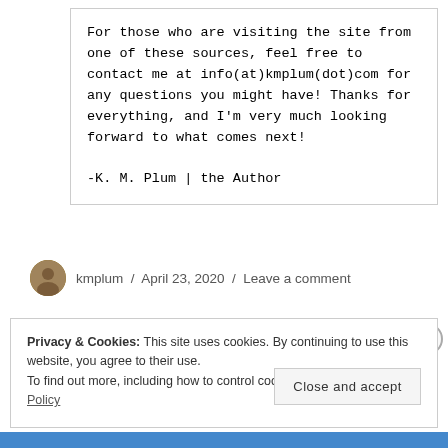For those who are visiting the site from one of these sources, feel free to contact me at info(at)kmplum(dot)com for any questions you might have! Thanks for everything, and I'm very much looking forward to what comes next!

-K. M. Plum | the Author
kmplum / April 23, 2020 / Leave a comment
Privacy & Cookies: This site uses cookies. By continuing to use this website, you agree to their use.
To find out more, including how to control cookies, see here: Cookie Policy